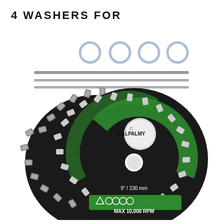4 WASHERS FOR
[Figure (photo): Product photo showing a 2-Pack of CALPALMY 9-inch/230mm chainsaw blade discs (max 10,000 RPM) with safety icons on a green label, 4 clear ring washers, and 3 metal rods/files on a white background.]